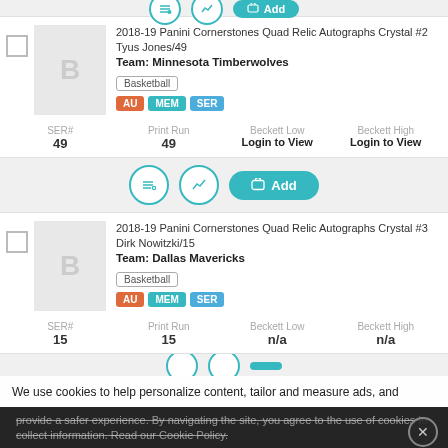2018-19 Panini Cornerstones Quad Relic Autographs Crystal #2 Tyus Jones/49
Team: Minnesota Timberwolves
Basketball
AU MEM SER
SER# 49 | Print Run 49 | Beckett Low: Login to View | Beckett High: Login to View
2018-19 Panini Cornerstones Quad Relic Autographs Crystal #3 Dirk Nowitzki/15
Team: Dallas Mavericks
Basketball
AU MEM SER
SER# 15 | Print Run 15 | Beckett Low: n/a | Beckett High: n/a
We use cookies to help personalize content, tailor and measure ads, and provide a safer experience. By navigating the site, you agree to the use of cookies to collect information. Read our Cookie Policy.
Get Beckett on your mobile device.
Install App